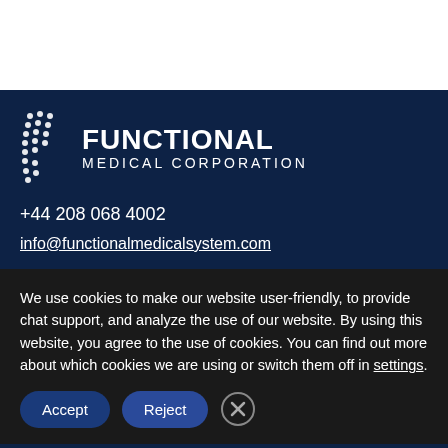[Figure (logo): Functional Medical Corporation logo with dot-pattern icon and white text on dark navy background]
+44 208 068 4002
info@functionalmedicalsystem.com
We use cookies to make our website user-friendly, to provide chat support, and analyze the use of our website. By using this website, you agree to the use of cookies. You can find out more about which cookies we are using or switch them off in settings.
Frequent Searches